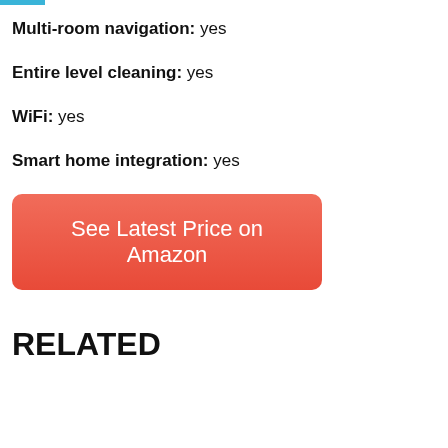Multi-room navigation: yes
Entire level cleaning: yes
WiFi: yes
Smart home integration: yes
[Figure (other): Red button labeled 'See Latest Price on Amazon']
RELATED